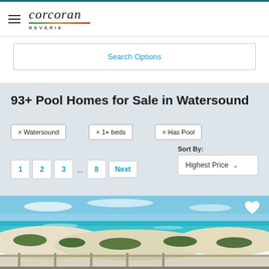Corcoran Reverie
Search Options
93+ Pool Homes for Sale in Watersound
× Watersound
× 1+ beds
× Has Pool
1  2  3  ...  8  Next  Sort By: Highest Price
[Figure (photo): Aerial view of a coastal beach property with turquoise water, white sand dunes, and green vegetation, viewed from a deck railing.]